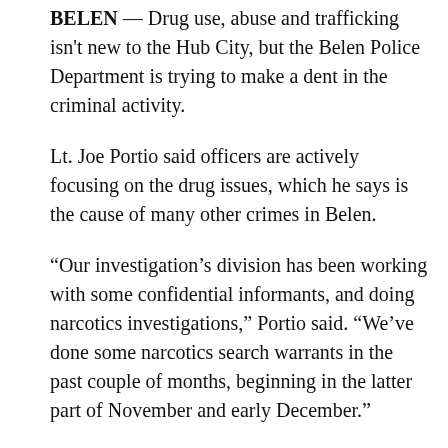BELEN — Drug use, abuse and trafficking isn't new to the Hub City, but the Belen Police Department is trying to make a dent in the criminal activity.
Lt. Joe Portio said officers are actively focusing on the drug issues, which he says is the cause of many other crimes in Belen.
“Our investigation’s division has been working with some confidential informants, and doing narcotics investigations,” Portio said. “We’ve done some narcotics search warrants in the past couple of months, beginning in the latter part of November and early December.”